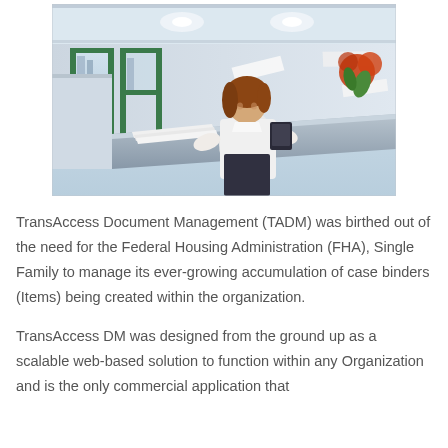[Figure (photo): Office photo of a young woman in a white blouse looking down at papers/documents at a desk in a modern office environment with green-framed windows and overhead lighting.]
TransAccess Document Management (TADM) was birthed out of the need for the Federal Housing Administration (FHA), Single Family to manage its ever-growing accumulation of case binders (Items) being created within the organization.
TransAccess DM was designed from the ground up as a scalable web-based solution to function within any Organization and is the only commercial application that